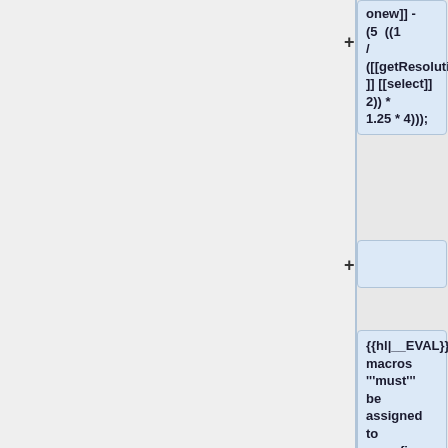onew]] - (5  ((1 / ([[getResolution]] [[select]] 2)) * 1.25 * 4)));
{{hl|__EVAL}} macros '''must''' be assigned to a config property and the expression '''must''' be terminated with {{hl|;}}. {{hl|__EVAL}} can only return [[Number]] or [[String]]: . Any other type is represented as [[String]], even